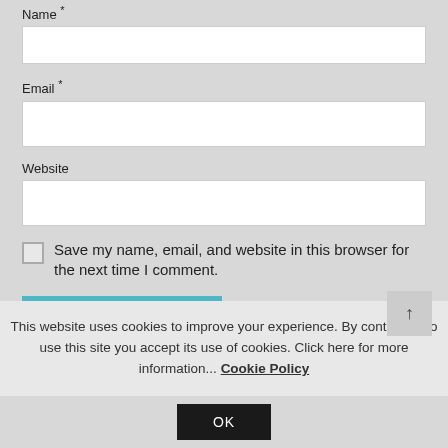Name *
Email *
Website
Save my name, email, and website in this browser for the next time I comment.
This website uses cookies to improve your experience. By continuing to use this site you accept its use of cookies. Click here for more information... Cookie Policy
OK